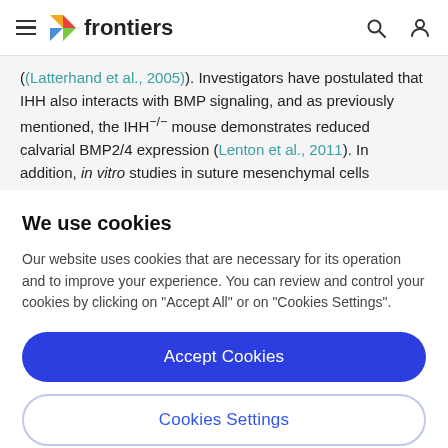frontiers
(Latterhand et al., 2003). Investigators have postulated that IHH also interacts with BMP signaling, and as previously mentioned, the IHH⁻/⁻ mouse demonstrates reduced calvarial BMP2/4 expression (Lenton et al., 2011). In addition, in vitro studies in suture mesenchymal cells
We use cookies
Our website uses cookies that are necessary for its operation and to improve your experience. You can review and control your cookies by clicking on "Accept All" or on "Cookies Settings".
Accept Cookies
Cookies Settings